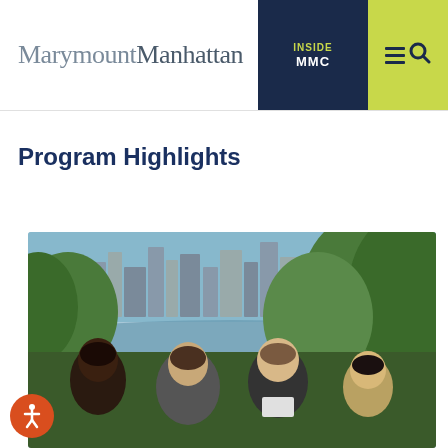MarymountManhattan | INSIDE MMC
Program Highlights
[Figure (photo): Group of four students smiling outdoors in Central Park, NYC skyline visible through trees in background]